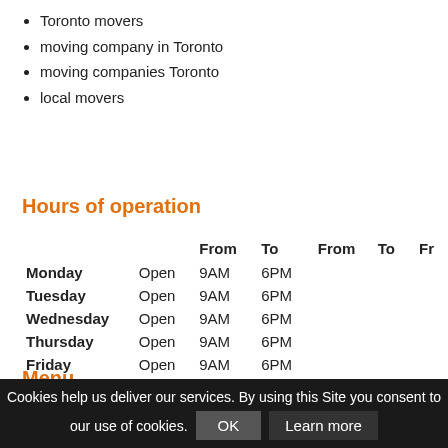Toronto movers
moving company in Toronto
moving companies Toronto
local movers
Hours of operation
|  |  | From | To | From | To | Fr |
| --- | --- | --- | --- | --- | --- | --- |
| Monday | Open | 9AM | 6PM |  |  |  |
| Tuesday | Open | 9AM | 6PM |  |  |  |
| Wednesday | Open | 9AM | 6PM |  |  |  |
| Thursday | Open | 9AM | 6PM |  |  |  |
| Friday | Open | 9AM | 6PM |  |  |  |
| Saturday | Open | 9AM | 5PM |  |  |  |
| Sunday | Open |  |  |  |  |  |
Menu
Overview
Cookies help us deliver our services. By using this Site you consent to our use of cookies.